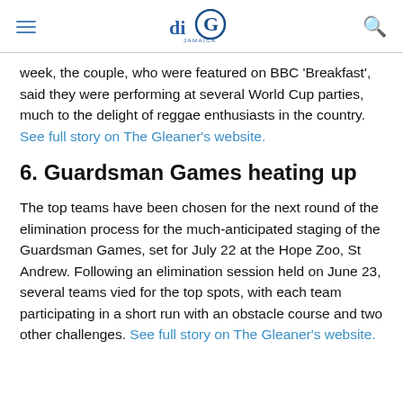diG Jamaica
week, the couple, who were featured on BBC ‘Breakfast’, said they were performing at several World Cup parties, much to the delight of reggae enthusiasts in the country. See full story on The Gleaner’s website.
6. Guardsman Games heating up
The top teams have been chosen for the next round of the elimination process for the much-anticipated staging of the Guardsman Games, set for July 22 at the Hope Zoo, St Andrew. Following an elimination session held on June 23, several teams vied for the top spots, with each team participating in a short run with an obstacle course and two other challenges. See full story on The Gleaner’s website.